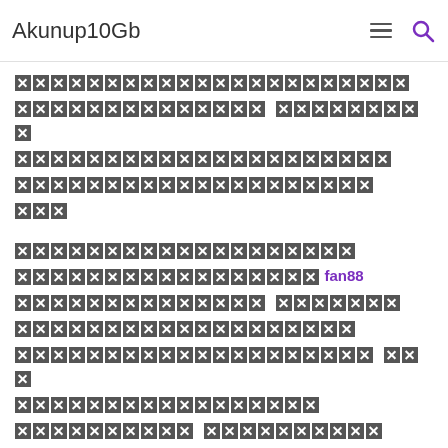Akunup10Gb
██████████████████████████████████ ██████████████ █████████████████ █████████████████████████████████████ ████████████████████████████████████ ███
████████████████████████████ █████████████████████████████ fan88 ████████████████████████ ████████ ████████████████████████████████████ ████████████████████████████████████ ████████████████████████ ████ ████████████████████████████ ████████ ████████████████████████████ ████████████████████████████████ ████████████████████████████████████ ████████████████████████████████████ ████████████████████████████████████